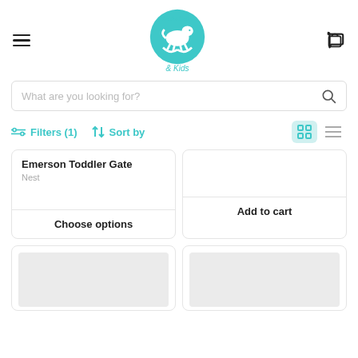Hello Baby & Kids
What are you looking for?
Filters (1)  Sort by
Emerson Toddler Gate
Nest
Choose options
Add to cart
[Figure (screenshot): Two empty product card placeholders with grey image areas]
[Figure (screenshot): Two empty product card placeholders with grey image areas]